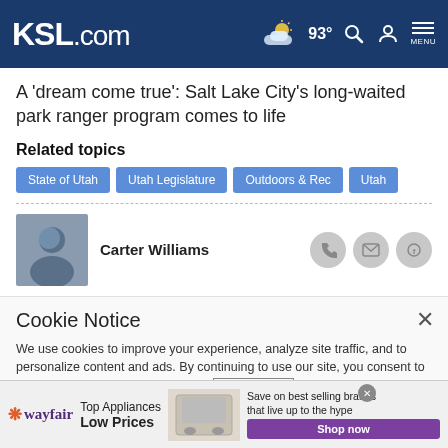KSL.com — 93° weather, search, account, menu
A 'dream come true': Salt Lake City's long-waited park ranger program comes to life
Related topics
State of Utah
Utah Legislature
Outdoors & Rec
Utah
Carter Williams
Cookie Notice
We use cookies to improve your experience, analyze site traffic, and to personalize content and ads. By continuing to use our site, you consent to our use of cookies. Please visit our Terms of Use and  Privacy Policy for more information
[Figure (screenshot): Wayfair advertisement banner: Top Appliances Low Prices, Save on best selling brands that live up to the hype, Shop now button, appliance image]